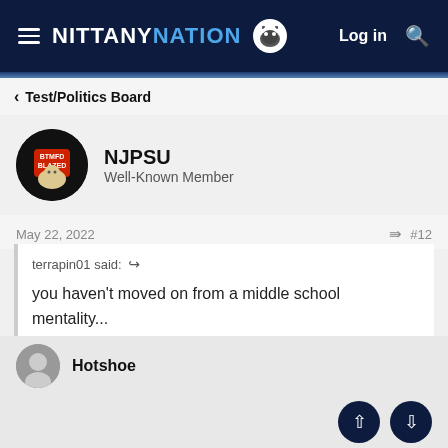NITTANY NATION  Log in  Search
< Test/Politics Board
NJPSU
Well-Known Member
May 22, 2022  #12
terrapin01 said:
you haven't moved on from a middle school mentality...
Funny my wife tells me the same thing. 😎
Hotshoe